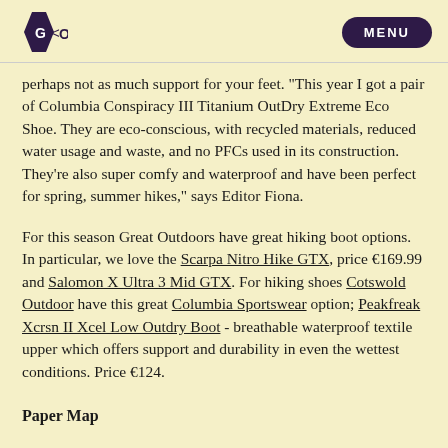GO <O> MENU
perhaps not as much support for your feet. "This year I got a pair of Columbia Conspiracy III Titanium OutDry Extreme Eco Shoe. They are eco-conscious, with recycled materials, reduced water usage and waste, and no PFCs used in its construction. They're also super comfy and waterproof and have been perfect for spring, summer hikes," says Editor Fiona.
For this season Great Outdoors have great hiking boot options. In particular, we love the Scarpa Nitro Hike GTX, price €169.99 and Salomon X Ultra 3 Mid GTX. For hiking shoes Cotswold Outdoor have this great Columbia Sportswear option; Peakfreak Xcrsn II Xcel Low Outdry Boot - breathable waterproof textile upper which offers support and durability in even the wettest conditions. Price €124.
Paper Map